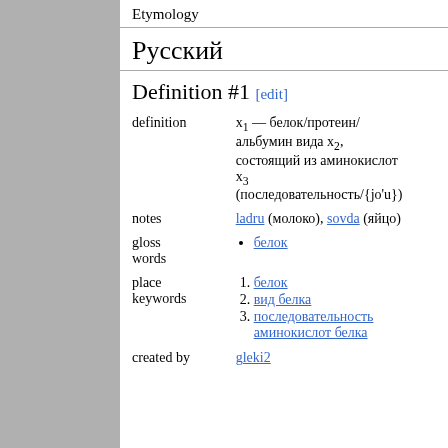Etymology
Русский
Definition #1 [edit]
| field | value |
| --- | --- |
| definition | x₁ — белок/протеин/альбумин вида x₂, состоящий из аминокислот x₃ (последовательность/{jo'u}) |
| notes | ladru (молоко), sovda (яйцо) |
| gloss words | • белок |
| place keywords | 1. белок
2. вид белка
3. последовательность аминокислот белка |
| created by | gleki2 |